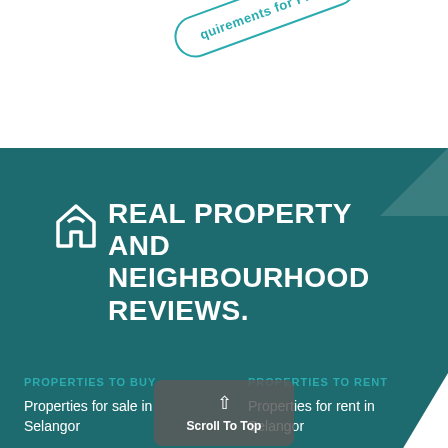[Figure (illustration): Rotated badge/pill shape with teal border and teal text reading 'quirements for FREE']
REAL PROPERTY AND NEIGHBOURHOOD REVIEWS.
PROPERTIES TO BUY
PROPERTIES TO RENT
Properties for sale in Selangor
Properties for rent in Selangor
[Figure (illustration): Scroll To Top button (rounded rectangle, grey semi-transparent) with upward chevron arrow and label 'Scroll To Top']